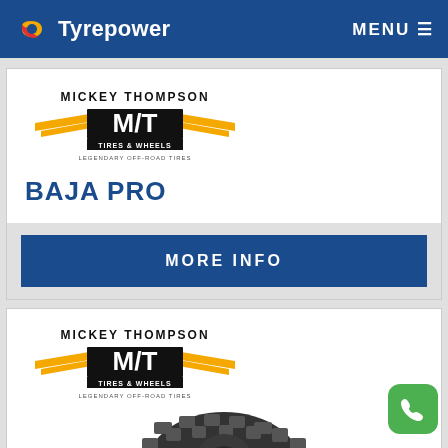Tyrepower  MENU
[Figure (logo): Mickey Thompson M/T Tires & Wheels - Legendary Off-Road Tires logo]
BAJA PRO
MORE INFO
[Figure (logo): Mickey Thompson M/T Tires & Wheels - Legendary Off-Road Tires logo]
[Figure (photo): Mickey Thompson Baja Pro off-road tire product photo]